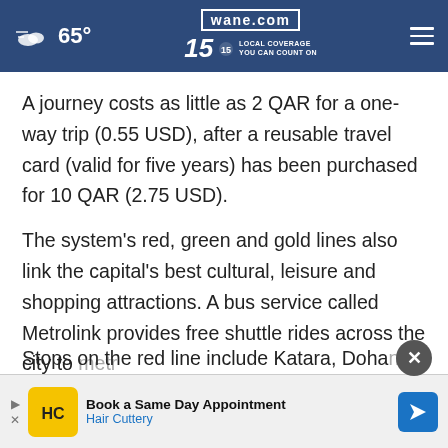65° | wane.com | 15 LOCAL COVERAGE YOU CAN COUNT ON
A journey costs as little as 2 QAR for a one-way trip (0.55 USD), after a reusable travel card (valid for five years) has been purchased for 10 QAR (2.75 USD).
The system's red, green and gold lines also link the capital's best cultural, leisure and shopping attractions. A bus service called Metrolink provides free shuttle rides across the city to metro stations...
Stops on the red line include Katara, Doha...
[Figure (screenshot): Hair Cuttery advertisement banner: Book a Same Day Appointment - Hair Cuttery, with HC logo and navigation arrow icon]